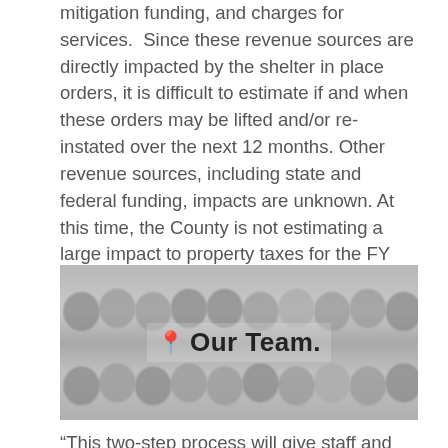mitigation funding, and charges for services. Since these revenue sources are directly impacted by the shelter in place orders, it is difficult to estimate if and when these orders may be lifted and/or reinstated over the next 12 months. Other revenue sources, including state and federal funding, impacts are unknown. At this time, the County is not estimating a large impact to property taxes for the FY 2020-21 budget, however, the County will monitor circumstances and revise estimates accordingly.
[Figure (photo): Group photo collage of a team of professionals arranged in two rows, with overlay text 'Our Team.' and a pin/location icon]
“This two-step process will give staff and the board of supervisors time to understand the true impacts of the COVID-19 pandemic, which isn’t fully known